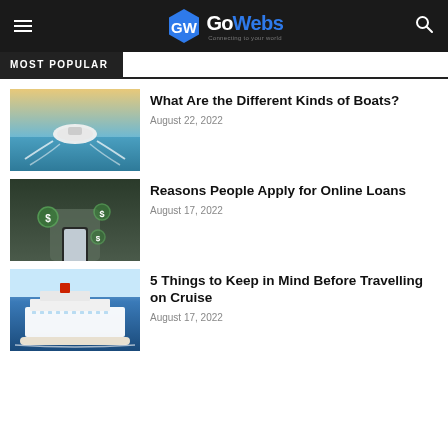GW GoWebs
MOST POPULAR
What Are the Different Kinds of Boats?
August 22, 2022
Reasons People Apply for Online Loans
August 17, 2022
5 Things to Keep in Mind Before Travelling on Cruise
August 17, 2022